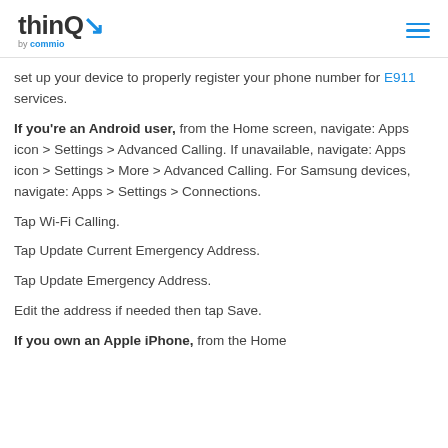thinQ by commio
set up your device to properly register your phone number for E911 services.
If you're an Android user, from the Home screen, navigate: Apps icon > Settings > Advanced Calling. If unavailable, navigate: Apps icon > Settings > More > Advanced Calling. For Samsung devices, navigate: Apps > Settings > Connections.
Tap Wi-Fi Calling.
Tap Update Current Emergency Address.
Tap Update Emergency Address.
Edit the address if needed then tap Save.
If you own an Apple iPhone, from the Home